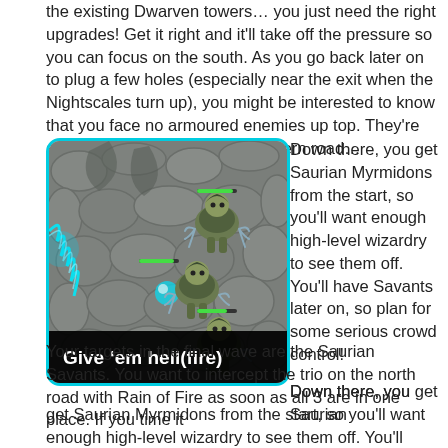the existing Dwarven towers… you just need the right upgrades! Get it right and it'll take off the pressure so you can focus on the south. As you go back later on to plug a few holes (especially near the exit when the Nightscales turn up), you might be interested to know that you face no armoured enemies up top. They're all busy partying along the southern road…
[Figure (screenshot): Game screenshot showing Saurian Myrmidon enemies on a stone dungeon floor with cyan energy effects. Caption bar at bottom reads: Give 'em hell(fire)]
Give 'em hell(fire)
Down there, you get Saurian Myrmidons from the start, so you'll want enough high-level wizardry to see them off. You'll have Savants later on, so plan for some serious crowd control!
Your targets in the final wave are the Saurian Savants. You want to intercept the trio on the north road with Rain of Fire as soon as all 3 are in one place. If you time it